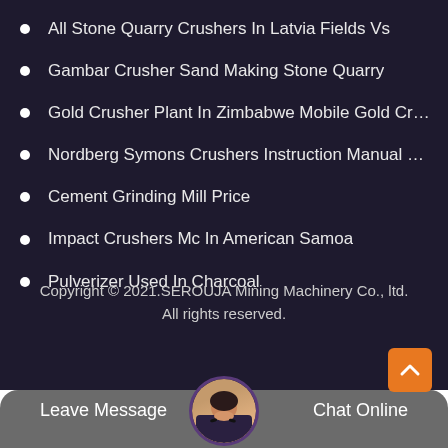All Stone Quarry Crushers In Latvia Fields Vs
Gambar Crusher Sand Making Stone Quarry
Gold Crusher Plant In Zimbabwe Mobile Gold Crushing Ma…
Nordberg Symons Crushers Instruction Manual Pdf In Pue…
Cement Grinding Mill Price
Impact Crushers Mc In American Samoa
Pulverizer Used In Charcoal
Copyright © 2021.SEROUJA Mining Machinery Co., ltd. All rights reserved.
Leave Message   Chat Online